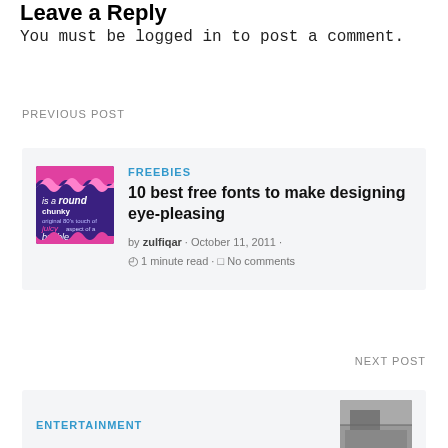Leave a Reply
You must be logged in to post a comment.
PREVIOUS POST
[Figure (other): Thumbnail image for '10 best free fonts to make designing eye-pleasing' article — colorful bubble font design on purple/pink background]
FREEBIES
10 best free fonts to make designing eye-pleasing
by zulfiqar · October 11, 2011 · 1 minute read · No comments
NEXT POST
ENTERTAINMENT